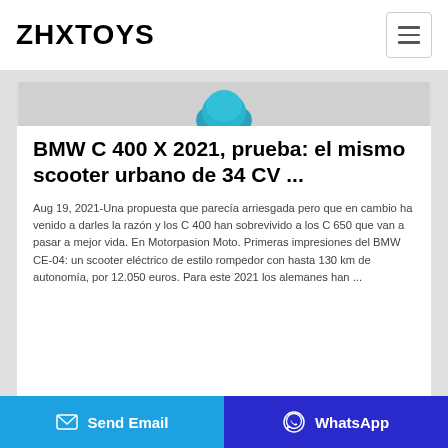ZHXTOYS
[Figure (photo): Partial image of a blue scooter/product shown at top of article card]
BMW C 400 X 2021, prueba: el mismo scooter urbano de 34 CV ...
Aug 19, 2021-Una propuesta que parecía arriesgada pero que en cambio ha venido a darles la razón y los C 400 han sobrevivido a los C 650 que van a pasar a mejor vida. En Motorpasion Moto. Primeras impresiones del BMW CE-04: un scooter eléctrico de estilo rompedor con hasta 130 km de autonomía, por 12.050 euros. Para este 2021 los alemanes han ...
Send Email   WhatsApp